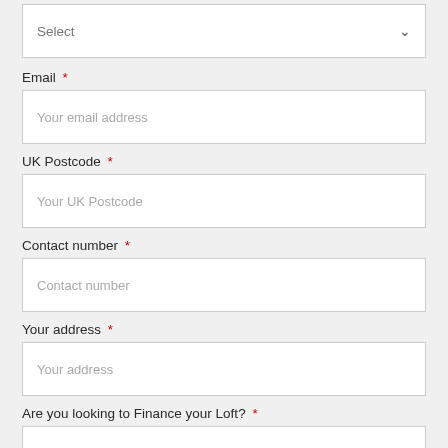[Figure (screenshot): Dropdown select box at the top of a web form, showing placeholder text 'Select' with a chevron icon]
Email *
[Figure (screenshot): Text input field with placeholder 'Your email address']
UK Postcode *
[Figure (screenshot): Text input field with placeholder 'Your UK Postcode']
Contact number *
[Figure (screenshot): Text input field with placeholder 'Contact number']
Your address *
[Figure (screenshot): Text input field with placeholder 'Your address']
Are you looking to Finance your Loft? *
[Figure (screenshot): Dropdown select box showing placeholder text 'Select' with a chevron icon]
Message *